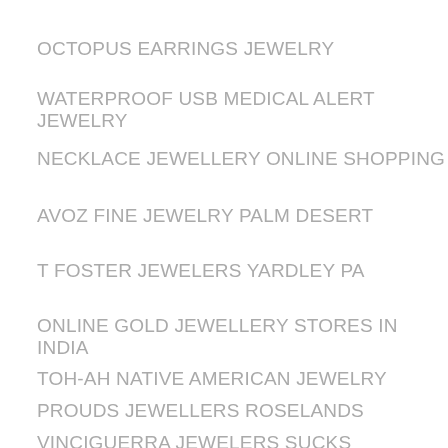OCTOPUS EARRINGS JEWELRY
WATERPROOF USB MEDICAL ALERT JEWELRY
NECKLACE JEWELLERY ONLINE SHOPPING
AVOZ FINE JEWELRY PALM DESERT
T FOSTER JEWELERS YARDLEY PA
ONLINE GOLD JEWELLERY STORES IN INDIA
TOH-AH NATIVE AMERICAN JEWELRY
PROUDS JEWELLERS ROSELANDS
VINCIGUERRA JEWELERS SUCKS